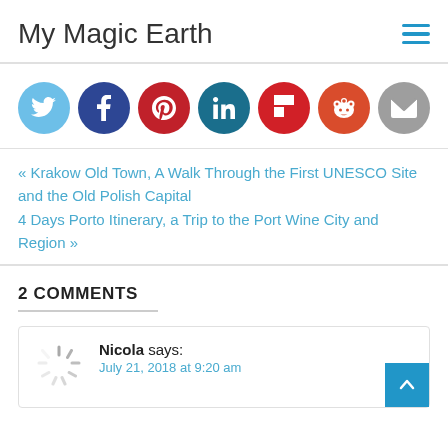My Magic Earth
[Figure (other): Social sharing buttons row: Twitter, Facebook, Pinterest, LinkedIn, Flipboard, Reddit, Email]
« Krakow Old Town, A Walk Through the First UNESCO Site and the Old Polish Capital
4 Days Porto Itinerary, a Trip to the Port Wine City and Region »
2 COMMENTS
Nicola says: July 21, 2018 at 9:20 am